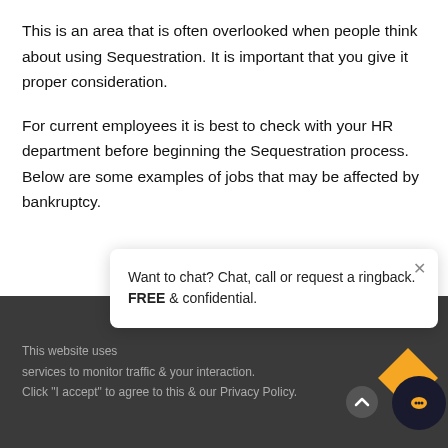This is an area that is often overlooked when people think about using Sequestration. It is important that you give it proper consideration.
For current employees it is best to check with your HR department before beginning the Sequestration process. Below are some examples of jobs that may be affected by bankruptcy.
Some limitations may apply in the following:
[Figure (screenshot): Chat widget popup overlay showing 'Want to chat? Chat, call or request a ringback. FREE & confidential.' with a close (×) button, overlaid on a dark cookie consent footer bar. An orange diamond and dark circle chat icon are visible in the bottom right.]
This website uses services to monitor traffic & your interaction. Click "I accept" to agree to this & our Privacy Policy.